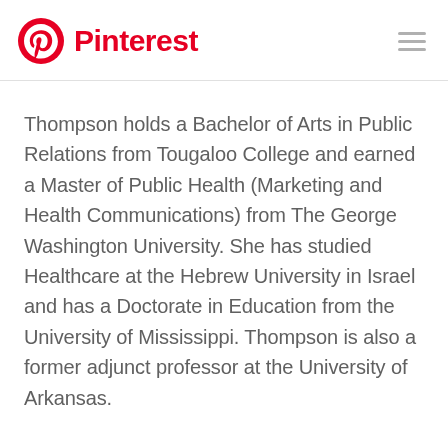Pinterest
Thompson holds a Bachelor of Arts in Public Relations from Tougaloo College and earned a Master of Public Health (Marketing and Health Communications) from The George Washington University. She has studied Healthcare at the Hebrew University in Israel and has a Doctorate in Education from the University of Mississippi. Thompson is also a former adjunct professor at the University of Arkansas.